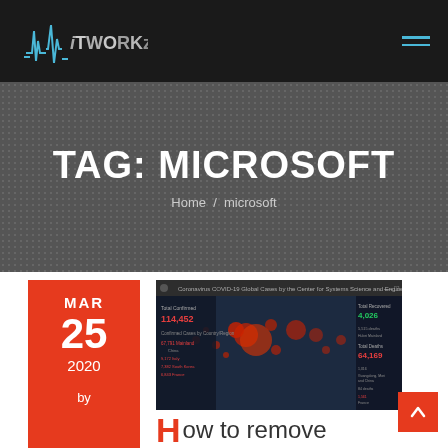iT WORKz
TAG: MICROSOFT
Home / microsoft
MAR 25 2020 by
[Figure (screenshot): Screenshot of Coronavirus COVID-19 Global Cases tracker by the Center for Systems Science and Engineering (CSSE), showing world map with red dots indicating case locations. Displays total confirmed 114,452, recovered 4,026, deaths 64,169.]
How to remove